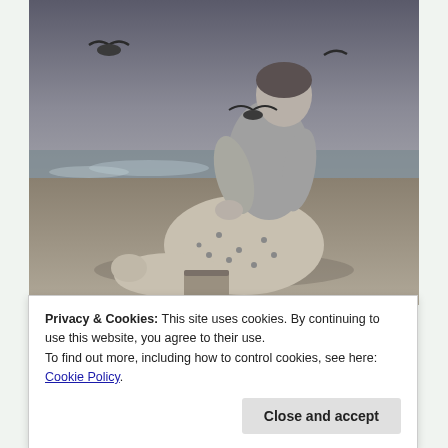[Figure (photo): Black and white photograph of a woman kneeling or crouching on a beach, wearing a patterned skirt and sweater, with seagulls flying around her. The ocean and sandy beach are visible in the background.]
Privacy & Cookies: This site uses cookies. By continuing to use this website, you agree to their use.
To find out more, including how to control cookies, see here: Cookie Policy
Close and accept
from a tiny loose snap found inside in my Aunt